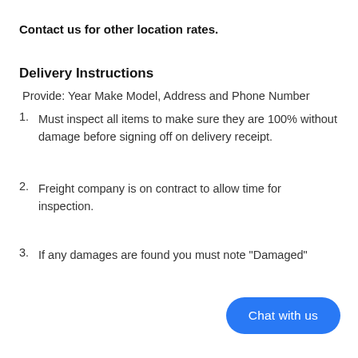Contact us for other location rates.
Delivery Instructions
Provide: Year Make Model, Address and Phone Number
Must inspect all items to make sure they are 100% without damage before signing off on delivery receipt.
Freight company is on contract to allow time for inspection.
If any damages are found you must note "Damaged"
Chat with us